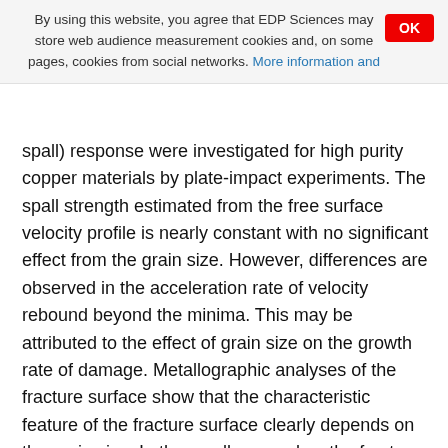By using this website, you agree that EDP Sciences may store web audience measurement cookies and, on some pages, cookies from social networks. More information and
spall) response were investigated for high purity copper materials by plate-impact experiments. The spall strength estimated from the free surface velocity profile is nearly constant with no significant effect from the grain size. However, differences are observed in the acceleration rate of velocity rebound beyond the minima. This may be attributed to the effect of grain size on the growth rate of damage. Metallographic analyses of the fracture surface show that the characteristic feature of the fracture surface clearly depends on the grain size. In the smaller samples, the fracture surfaces are decorated with large, high-density ductile dimples suggesting that the preferential failure mode is ductile intergranular fracture. In the larger samples, the fracture surfaces have a rock candy appearance with small, brittle, high density dimples as well as large ductile dimples